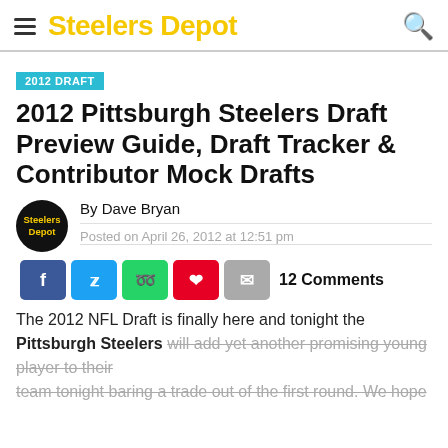Steelers Depot
2012 DRAFT
2012 Pittsburgh Steelers Draft Preview Guide, Draft Tracker & Contributor Mock Drafts
By Dave Bryan
Posted on April 26, 2012 at 12:51 pm
12 Comments
The 2012 NFL Draft is finally here and tonight the Pittsburgh Steelers will add yet another promising young player to their team tonight baring a trade out of the first round. We hope you have enjoying all of the draft content and coverage we have